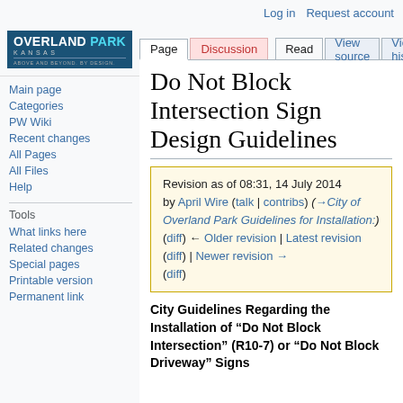Log in  Request account
[Figure (logo): Overland Park Kansas city logo - blue background with white OVERLAND and cyan PARK text, KANSAS subtitle, tagline ABOVE AND BEYOND. BY DESIGN.]
Page | Discussion | Read | View source | View history | Search P
Do Not Block Intersection Sign Design Guidelines
Revision as of 08:31, 14 July 2014 by April Wire (talk | contribs) (→City of Overland Park Guidelines for Installation:)
(diff) ← Older revision | Latest revision (diff) | Newer revision → (diff)
Main page
Categories
PW Wiki
Recent changes
All Pages
All Files
Help
Tools
What links here
Related changes
Special pages
Printable version
Permanent link
City Guidelines Regarding the Installation of “Do Not Block Intersection” (R10-7) or “Do Not Block Driveway” Signs